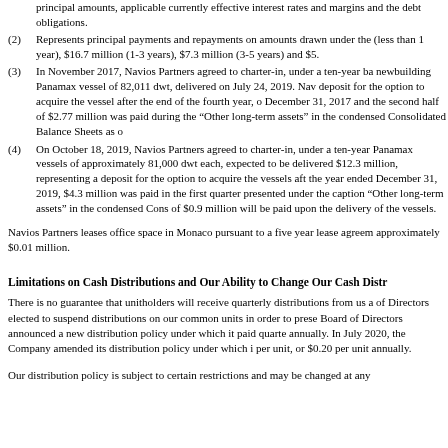principal amounts, applicable currently effective interest rates and margins and the debt obligations.
(2) Represents principal payments and repayments on amounts drawn under the (less than 1 year), $16.7 million (1-3 years), $7.3 million (3-5 years) and $5.
(3) In November 2017, Navios Partners agreed to charter-in, under a ten-year ba newbuilding Panamax vessel of 82,011 dwt, delivered on July 24, 2019. Nav deposit for the option to acquire the vessel after the end of the fourth year, o December 31, 2017 and the second half of $2.77 million was paid during the "Other long-term assets" in the condensed Consolidated Balance Sheets as o
(4) On October 18, 2019, Navios Partners agreed to charter-in, under a ten-year Panamax vessels of approximately 81,000 dwt each, expected to be delivered $12.3 million, representing a deposit for the option to acquire the vessels aft the year ended December 31, 2019, $4.3 million was paid in the first quarter presented under the caption "Other long-term assets" in the condensed Cons of $0.9 million will be paid upon the delivery of the vessels.
Navios Partners leases office space in Monaco pursuant to a five year lease agreem approximately $0.01 million.
Limitations on Cash Distributions and Our Ability to Change Our Cash Distr
There is no guarantee that unitholders will receive quarterly distributions from us a of Directors elected to suspend distributions on our common units in order to prese Board of Directors announced a new distribution policy under which it paid quarte annually. In July 2020, the Company amended its distribution policy under which i per unit, or $0.20 per unit annually.
Our distribution policy is subject to certain restrictions and may be changed at any